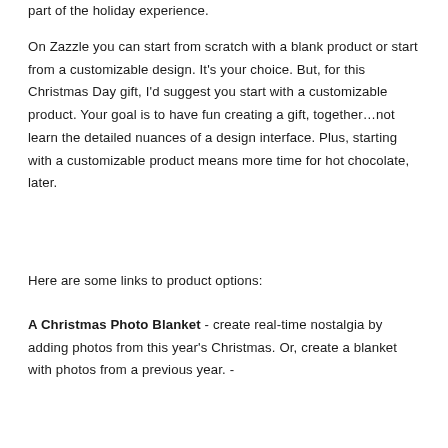part of the holiday experience.
On Zazzle you can start from scratch with a blank product or start from a customizable design. It's your choice. But, for this Christmas Day gift, I'd suggest you start with a customizable product. Your goal is to have fun creating a gift, together…not learn the detailed nuances of a design interface. Plus, starting with a customizable product means more time for hot chocolate, later.
Here are some links to product options:
A Christmas Photo Blanket - create real-time nostalgia by adding photos from this year's Christmas. Or, create a blanket with photos from a previous year. -